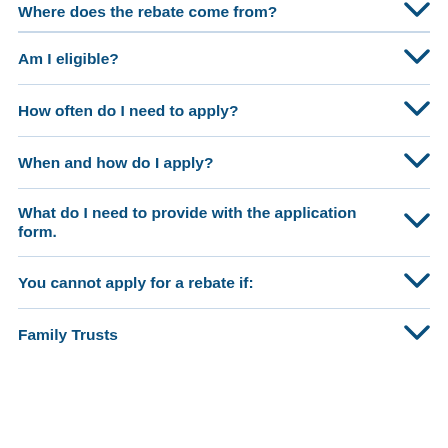Where does the rebate come from?
Am I eligible?
How often do I need to apply?
When and how do I apply?
What do I need to provide with the application form.
You cannot apply for a rebate if:
Family Trusts